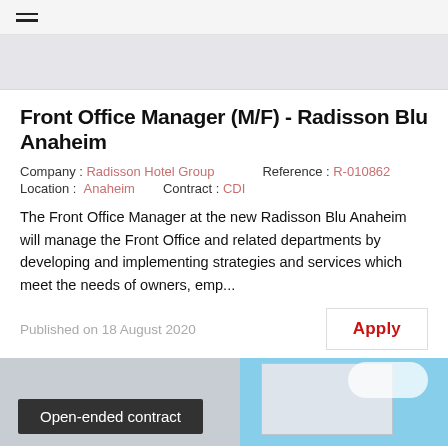☰
[Figure (photo): Gray/light banner image area at top]
Front Office Manager (M/F) - Radisson Blu Anaheim
Company : Radisson Hotel Group    Reference : R-010862
Location : Anaheim    Contract : CDI
The Front Office Manager at the new Radisson Blu Anaheim will manage the Front Office and related departments by developing and implementing strategies and services which meet the needs of owners, emp...
Published on 18 August 2020
Apply
[Figure (photo): Hotel exterior photo with blue sky and building facade, with dark overlay tag reading 'Open-ended contract']